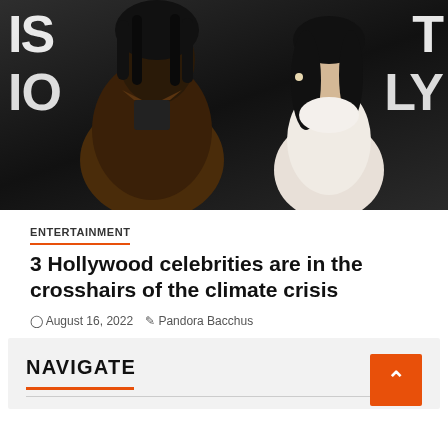[Figure (photo): Two people posing at an event in front of a dark backdrop with partial text visible. A man in a brown satin suit and a woman in a white halter-neck outfit.]
ENTERTAINMENT
3 Hollywood celebrities are in the crosshairs of the climate crisis
August 16, 2022  Pandora Bacchus
NAVIGATE